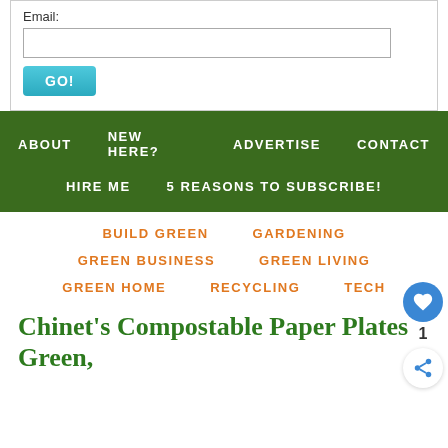Email:
ABOUT   NEW HERE?   ADVERTISE   CONTACT
HIRE ME   5 REASONS TO SUBSCRIBE!
BUILD GREEN
GARDENING
GREEN BUSINESS
GREEN LIVING
GREEN HOME
RECYCLING
TECH
Chinet’s Compostable Paper Plates Green,